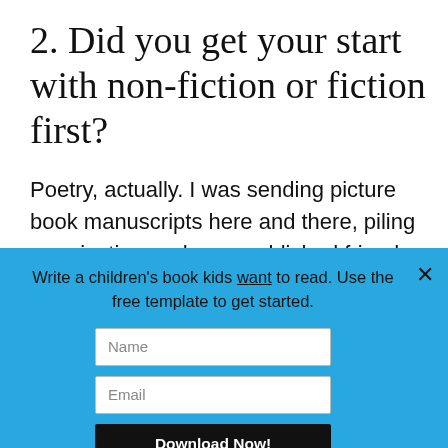2. Did you get your start with non-fiction or fiction first?
Poetry, actually. I was sending picture book manuscripts here and there, piling up rejections, when a published friend who
Write a children's book kids want to read. Use the free template to get started.
Name
Email
Download Now!